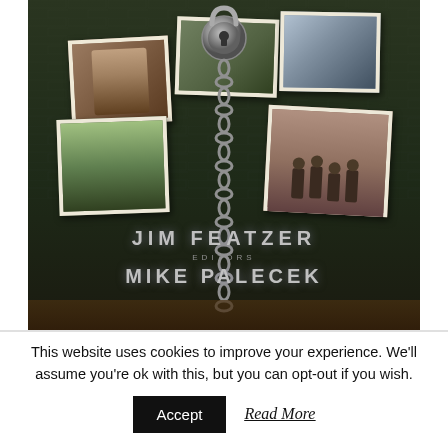[Figure (photo): Book cover showing a collage of photographs (including a man's face, military/news imagery, firefighters, explosion) pinned behind a chain and padlock on a dark brick/wooden background. Authors listed as JIM FETZER and MIKE PALECEK, EDITORS.]
This website uses cookies to improve your experience. We'll assume you're ok with this, but you can opt-out if you wish.
Accept
Read More